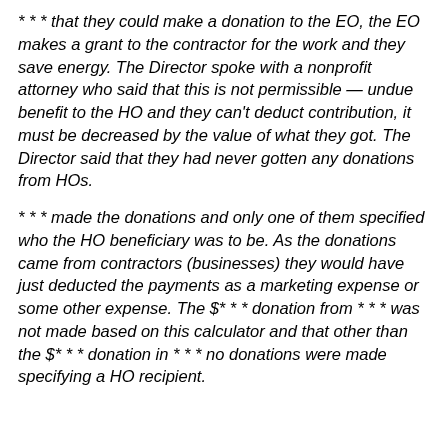* * * that they could make a donation to the EO, the EO makes a grant to the contractor for the work and they save energy. The Director spoke with a nonprofit attorney who said that this is not permissible — undue benefit to the HO and they can't deduct contribution, it must be decreased by the value of what they got. The Director said that they had never gotten any donations from HOs.
* * * made the donations and only one of them specified who the HO beneficiary was to be. As the donations came from contractors (businesses) they would have just deducted the payments as a marketing expense or some other expense. The $* * * donation from * * * was not made based on this calculator and that other than the $* * * donation in * * * no donations were made specifying a HO recipient.